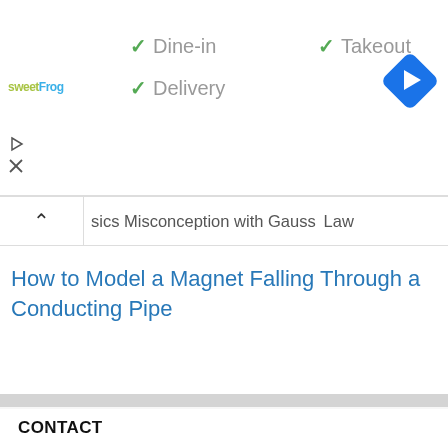[Figure (screenshot): sweetFrog logo with colorful text]
✓ Dine-in  ✓ Takeout  ✓ Delivery
[Figure (other): Blue diamond navigation arrow icon]
sics Misconception with Gauss Law (partial, cut off)
How to Model a Magnet Falling Through a Conducting Pipe
CONTACT
ABOUT
TERMS
PRIVACY
HELP